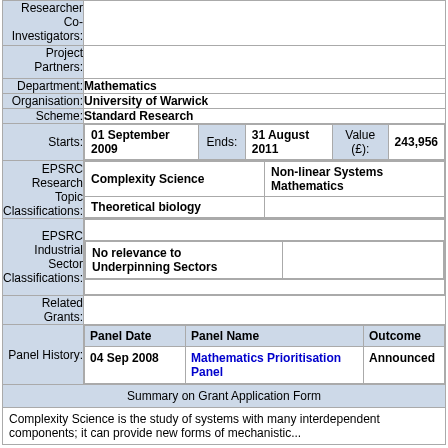| Label | Value |
| --- | --- |
| Researcher Co-Investigators: |  |
| Project Partners: |  |
| Department: | Mathematics |
| Organisation: | University of Warwick |
| Scheme: | Standard Research |
| Starts: | 01 September 2009 | Ends: | 31 August 2011 | Value (£): | 243,956 |
| EPSRC Research Topic Classifications: | Complexity Science | Non-linear Systems Mathematics | Theoretical biology |
| EPSRC Industrial Sector Classifications: | No relevance to Underpinning Sectors |
| Related Grants: |  |
| Panel History: | Panel Date | Panel Name | Outcome | 04 Sep 2008 | Mathematics Prioritisation Panel | Announced |
Summary on Grant Application Form
Complexity Science is the study of systems with many interdependent components; it can provide new forms of mechanistic...